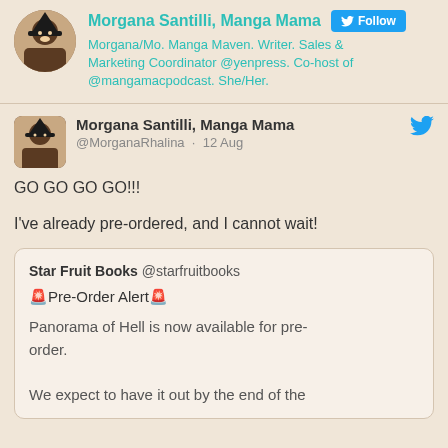Morgana Santilli, Manga Mama [Follow] Morgana/Mo. Manga Maven. Writer. Sales & Marketing Coordinator @yenpress. Co-host of @mangamacpodcast. She/Her.
Morgana Santilli, Manga Mama @MorganaRhalina · 12 Aug
GO GO GO GO!!!
I've already pre-ordered, and I cannot wait!
Star Fruit Books @starfruitbooks 🚨Pre-Order Alert🚨
Panorama of Hell is now available for pre-order.
We expect to have it out by the end of the